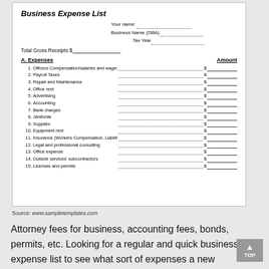[Figure (screenshot): Business Expense List form with fields for name, business name, tax year, total gross receipts, and 15 listed expense line items with dotted leaders and dollar amount fill-in lines.]
Source: www.sampletemplates.com
Attorney fees for business, accounting fees, bonds, permits, etc. Looking for a regular and quick business expense list to see what sort of expenses a new business incurs?